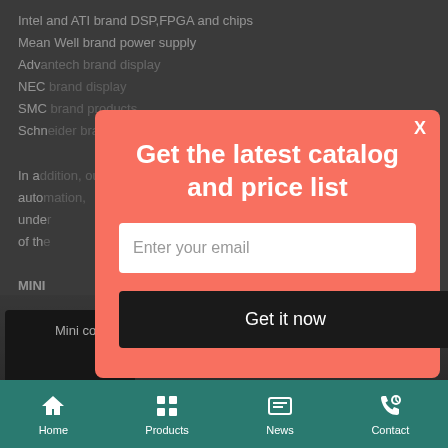Intel and ATI brand DSP,FPGA and chips
Mean Well brand power supply
Advantech brand display
NEC brand display
SMC brand products
Schneider brand products
In addition, our product is automation, use for under, sorting of the
MINI
[Figure (photo): Mini color sorter device image with caption: Mini color sorter —Whatsapp/wechat:0086 18...]
[Figure (screenshot): Modal popup with coral/salmon background. Title: 'Get the latest catalog and price list'. Email input field with placeholder 'Enter your email'. Black button labeled 'Get it now'. X close button in top right.]
Home | Products | News | Contact